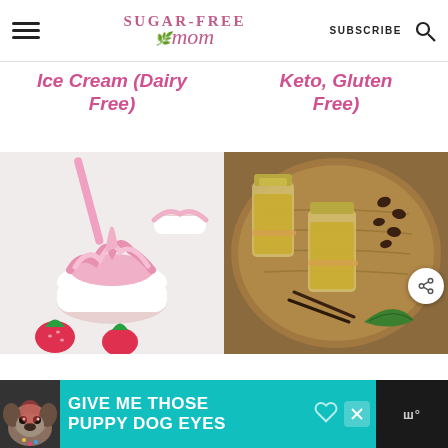Sugar-Free Mom — SUBSCRIBE
Ice Cream (Dairy Free)
Keto, Gluten Free)
[Figure (photo): Strawberry soft-serve ice cream swirled in a white bowl with a pink spoon and fresh strawberries on white marble]
[Figure (photo): Vanilla extract jars with coffee beans and green leaves on a wooden serving board]
[Figure (photo): Advertisement banner: Give Me Those Puppy Dog Eyes]